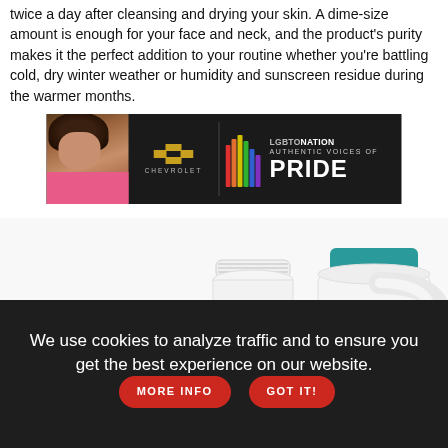twice a day after cleansing and drying your skin. A dime-size amount is enough for your face and neck, and the product's purity makes it the perfect addition to your routine whether you're battling cold, dry winter weather or humidity and sunscreen residue during the warmer months.
[Figure (photo): Advertisement banner for Chevrolet and LGBTQ Nation Authentic Voices of Pride campaign, dark background with a person on the left, Chevrolet bowtie logo in center, and rainbow bar chart graphic with LGBTQ Nation branding on right.]
[Figure (photo): Product photo showing Briotech Topical Skin Spray bottles — a medium white bottle, a large gallon jug with teal cap, and a small bottle partially visible on the left.]
We use cookies to analyze traffic and to ensure you get the best experience on our website.